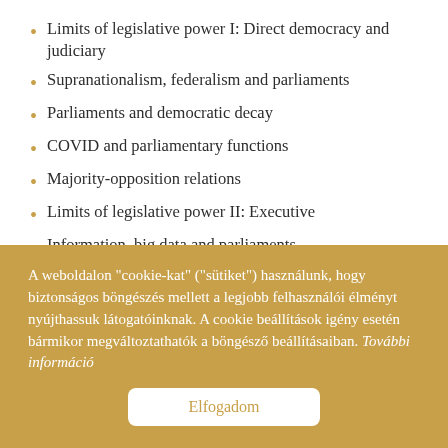Limits of legislative power I: Direct democracy and judiciary
Supranationalism, federalism and parliaments
Parliaments and democratic decay
COVID and parliamentary functions
Majority-opposition relations
Limits of legislative power II: Executive
Information, big data and parliaments
Representation and parliaments
A weboldalon "cookie-kat" ("sütiket") használunk, hogy biztonságos böngészés mellett a legjobb felhasználói élményt nyújthassuk látogatóinknak. A cookie beállítások igény esetén bármikor megváltoztathatók a böngésző beállításaiban. További információ
Elfogadom